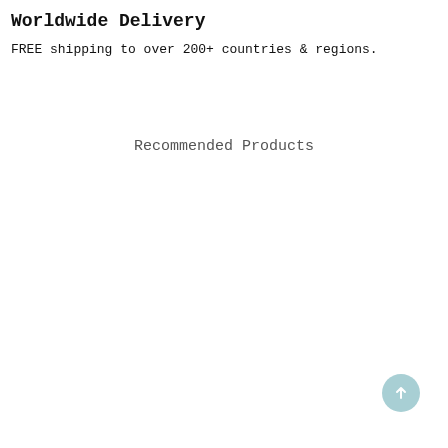Worldwide Delivery
FREE shipping to over 200+ countries & regions.
Recommended Products